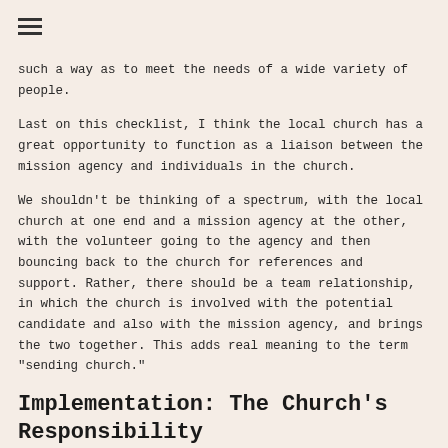≡
such a way as to meet the needs of a wide variety of people.
Last on this checklist, I think the local church has a great opportunity to function as a liaison between the mission agency and individuals in the church.
We shouldn't be thinking of a spectrum, with the local church at one end and a mission agency at the other, with the volunteer going to the agency and then bouncing back to the church for references and support. Rather, there should be a team relationship, in which the church is involved with the potential candidate and also with the mission agency, and brings the two together. This adds real meaning to the term "sending church."
Implementation: The Church's Responsibility